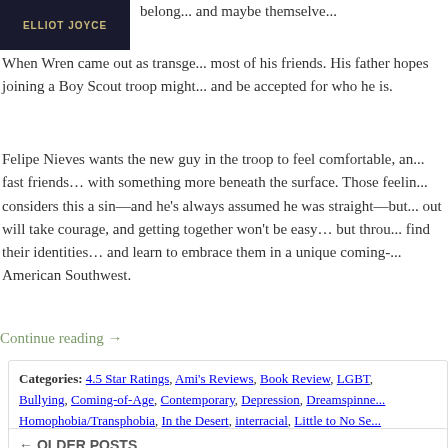[Figure (photo): Book cover with dark background and author name ELLIOT JOYCE in gold letters]
belong... and maybe themselves...
When Wren came out as transgender, he lost most of his friends. His father hopes joining a Boy Scout troop might help him fit in and be accepted for who he is.
Felipe Nieves wants the new guy in the troop to feel comfortable, and they become fast friends... with something more beneath the surface. Those feelings scare Felipe—his faith considers this a sin—and he's always assumed he was straight—but the heart wants what it wants. Coming out will take courage, and getting together won't be easy... but through it all, the boys will find their identities... and learn to embrace them in a unique coming-of-age story set in the American Southwest.
Continue reading →
Categories: 4.5 Star Ratings, Ami's Reviews, Book Review, LGBT, Bullying, Coming-of-Age, Contemporary, Depression, Dreamspinner, Homophobia/Transphobia, In the Desert, interracial, Little to No Se... NA, Religion, Series - States of Love, sweet, Teenagers, The Blogg... YA Becoming | Leave a comment
← OLDER POSTS